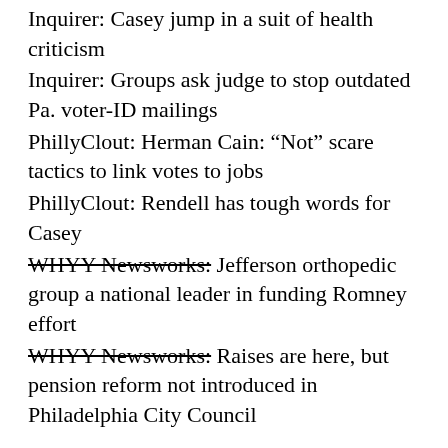Inquirer: Casey jump in a suit of health criticism
Inquirer: Groups ask judge to stop outdated Pa. voter-ID mailings
PhillyClout: Herman Cain: “Not” scare tactics to link votes to jobs
PhillyClout: Rendell has tough words for Casey
WHYY Newsworks: Jefferson orthopedic group a national leader in funding Romney effort
WHYY Newsworks: Raises are here, but pension reform not introduced in Philadelphia City Council
SEPA
PA-8: 3 Takeaways From a House Race Debate in a Swing District
PhillyBurbs: Post-Gazette, Patriot-News